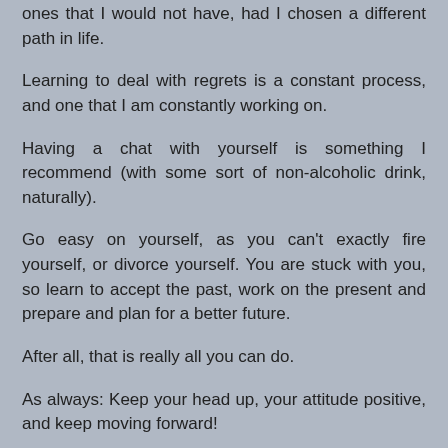ones that I would not have, had I chosen a different path in life.
Learning to deal with regrets is a constant process, and one that I am constantly working on.
Having a chat with yourself is something I recommend (with some sort of non-alcoholic drink, naturally).
Go easy on yourself, as you can't exactly fire yourself, or divorce yourself. You are stuck with you, so learn to accept the past, work on the present and prepare and plan for a better future.
After all, that is really all you can do.
As always: Keep your head up, your attitude positive, and keep moving forward!
(PS: it is officially 2m:3w to Total Debt Freedom Day)
Geoff W at 08:00    No comments: